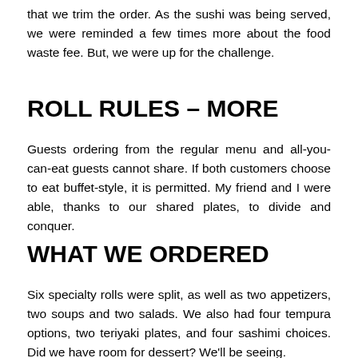that we trim the order. As the sushi was being served, we were reminded a few times more about the food waste fee. But, we were up for the challenge.
ROLL RULES – MORE
Guests ordering from the regular menu and all-you-can-eat guests cannot share. If both customers choose to eat buffet-style, it is permitted. My friend and I were able, thanks to our shared plates, to divide and conquer.
WHAT WE ORDERED
Six specialty rolls were split, as well as two appetizers, two soups and two salads. We also had four tempura options, two teriyaki plates, and four sashimi choices. Did we have room for dessert? We'll be seeing.